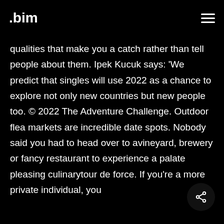.bim
qualities that make you a catch rather than tell people about them. Ipek Kucuk says: ‘We predict that singles will use 2022 as a chance to explore not only new countries but new people too. © 2022 The Adventure Challenge. Outdoor flea markets are incredible date spots. Nobody said you had to head over to avineyard, brewery or fancy restaurant to experience a palate pleasing culinarytour de force. If you’re a more private individual, you